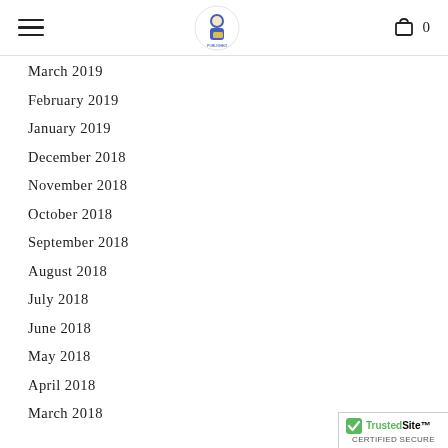Navigation header with hamburger menu, logo, and cart (0 items)
March 2019
February 2019
January 2019
December 2018
November 2018
October 2018
September 2018
August 2018
July 2018
June 2018
May 2018
April 2018
March 2018
[Figure (logo): TrustedSite Certified Secure badge in bottom-right corner]